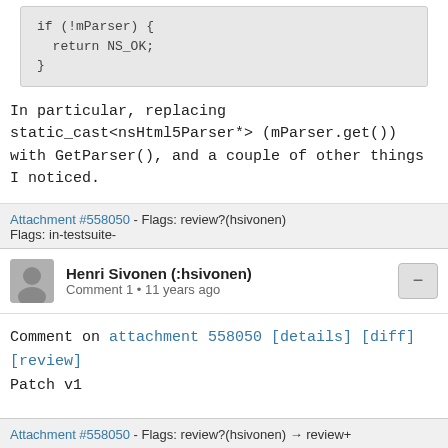[Figure (screenshot): Code snippet showing: if (!mParser) { return NS_OK; }]
In particular, replacing static_cast<nsHtml5Parser*> (mParser.get()) with GetParser(), and a couple of other things I noticed.
Attachment #558050 - Flags: review?(hsivonen)
Flags: in-testsuite-
Henri Sivonen (:hsivonen)
Comment 1 • 11 years ago
Comment on attachment 558050 [details] [diff] [review]
Patch v1

Looks good. Thanks.
Attachment #558050 - Flags: review?(hsivonen) → review+